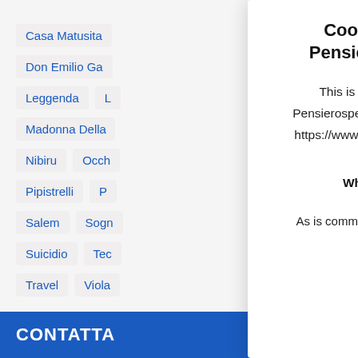Casa Matusita
Don Emilio Ga
Leggenda
Madonna Della
Nibiru
Occh
Pipistrelli
P
Salem
Sogn
Suicidio
Tec
Travel
Viola
Cookie Policy for Pensierospensierato
This is the Cookie Policy for Pensierospensierato, accessible from https://www.pensierospensierato.net/
What Are Cookies
As is common practice with almost all
CONTATTA